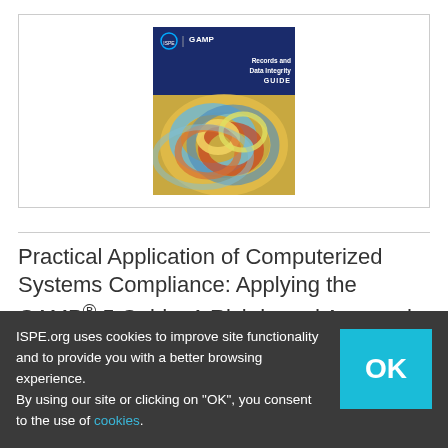[Figure (illustration): Book cover of ISPE GAMP Records and Data Integrity Guide, showing a dark blue header with ISPE and GAMP logos and title text, and a colorful swirling abstract image below]
Practical Application of Computerized Systems Compliance: Applying the GAMP® 5 Guide: A Risk-based Approach to Compliant GxP Computerized Systems
ISPE.org uses cookies to improve site functionality and to provide you with a better browsing experience.
By using our site or clicking on "OK", you consent to the use of cookies.